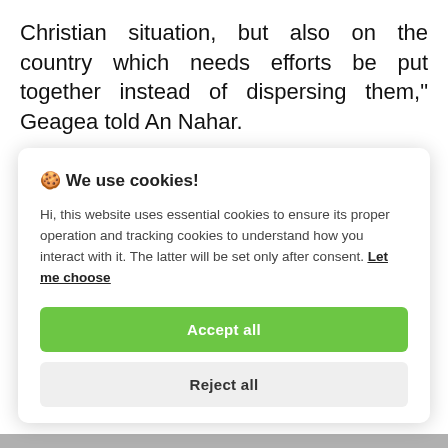Christian situation, but also on the country which needs efforts be put together instead of dispersing them," Geagea told An Nahar.
[Figure (screenshot): Cookie consent popup overlay with title '🍪 We use cookies!', body text, 'Let me choose' link, 'Accept all' green button, and 'Reject all' gray button.]